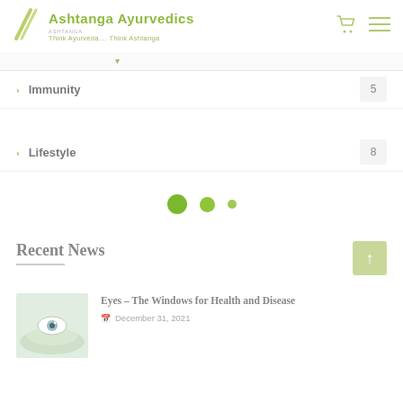Ashtanga Ayurvedics — Think Ayurveda.... Think Ashtanga
Immunity  5
Lifestyle  8
[Figure (other): Pagination dots: three green circles of decreasing size]
Recent News
Eyes – The Windows for Health and Disease
December 31, 2021